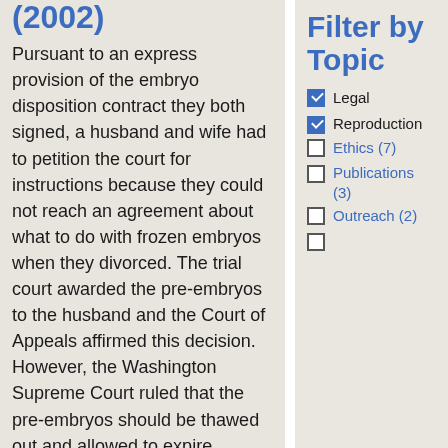(2002)
Pursuant to an express provision of the embryo disposition contract they both signed, a husband and wife had to petition the court for instructions because they could not reach an agreement about what to do with frozen embryos when they divorced. The trial court awarded the pre-embryos to the husband and the Court of Appeals affirmed this decision. However, the Washington Supreme Court ruled that the pre-embryos should be thawed out and allowed to expire because the dispute had
Filter by Topic
Legal (checked)
Reproduction (checked)
Ethics (7)
Publications (3)
Outreach (2)